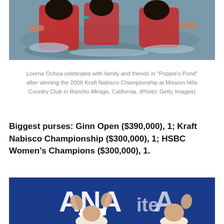[Figure (photo): People celebrating in water, wearing red clothing, splashing in a pond.]
Lorena Ochoa celebrates with family and friends in “Poppie’s Pond” after winning the 2008 Kraft Nabisco Championship at Mission Hills Country Club in Rancho Mirage, California. (Photo: Getty Images)
Biggest purses: Ginn Open ($390,000), 1; Kraft Nabisco Championship ($300,000), 1; HSBC Women’s Champions ($300,000), 1.
[Figure (photo): Two women waving, standing in front of a blue ANA banner/backdrop.]